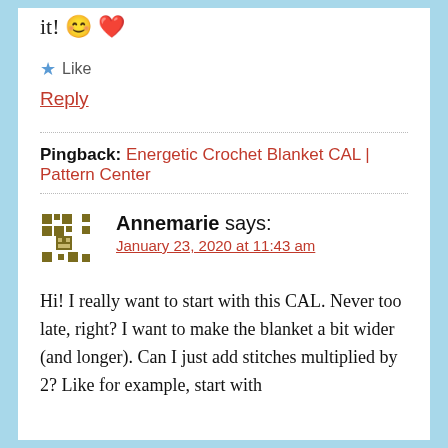it! 😊 ❤
★ Like
Reply
Pingback: Energetic Crochet Blanket CAL | Pattern Center
Annemarie says:
January 23, 2020 at 11:43 am
Hi! I really want to start with this CAL. Never too late, right? I want to make the blanket a bit wider (and longer). Can I just add stitches multiplied by 2? Like for example, start with